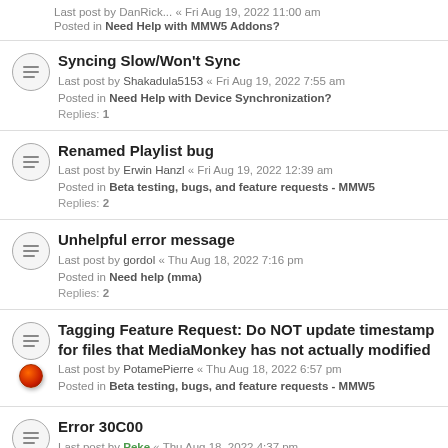Last post by DanRick... Fri Aug 19, 2022 11:00 am
Posted in Need Help with MMW5 Addons?
Syncing Slow/Won't Sync
Last post by Shakadula5153 « Fri Aug 19, 2022 7:55 am
Posted in Need Help with Device Synchronization?
Replies: 1
Renamed Playlist bug
Last post by Erwin Hanzl « Fri Aug 19, 2022 12:39 am
Posted in Beta testing, bugs, and feature requests - MMW5
Replies: 2
Unhelpful error message
Last post by gordol « Thu Aug 18, 2022 7:16 pm
Posted in Need help (mma)
Replies: 2
Tagging Feature Request: Do NOT update timestamp for files that MediaMonkey has not actually modified
Last post by PotamePierre « Thu Aug 18, 2022 6:57 pm
Posted in Beta testing, bugs, and feature requests - MMW5
Error 30C00
Last post by Peke « Thu Aug 18, 2022 4:37 pm